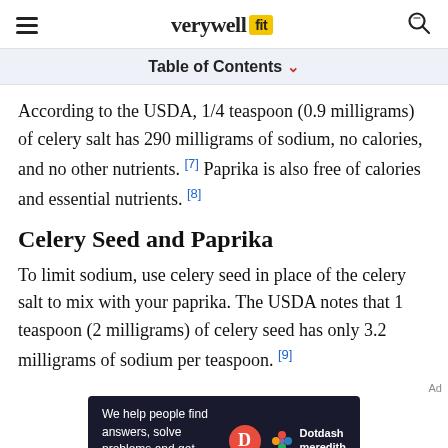verywell fit
Table of Contents
According to the USDA, 1/4 teaspoon (0.9 milligrams) of celery salt has 290 milligrams of sodium, no calories, and no other nutrients. [7] Paprika is also free of calories and essential nutrients. [8]
Celery Seed and Paprika
To limit sodium, use celery seed in place of the celery salt to mix with your paprika. The USDA notes that 1 teaspoon (2 milligrams) of celery seed has only 3.2 milligrams of sodium per teaspoon. [9]
[Figure (infographic): Dotdash Meredith advertisement banner with text 'We help people find answers, solve problems and get inspired.']